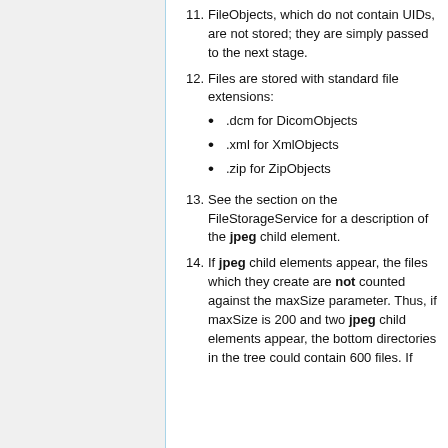11. FileObjects, which do not contain UIDs, are not stored; they are simply passed to the next stage.
12. Files are stored with standard file extensions: .dcm for DicomObjects, .xml for XmlObjects, .zip for ZipObjects
13. See the section on the FileStorageService for a description of the jpeg child element.
14. If jpeg child elements appear, the files which they create are not counted against the maxSize parameter. Thus, if maxSize is 200 and two jpeg child elements appear, the bottom directories in the tree could contain 600 files. If